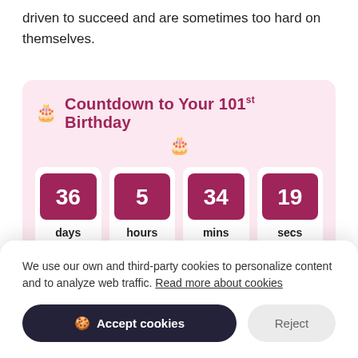driven to succeed and are sometimes too hard on themselves.
[Figure (infographic): Countdown to Your 101st Birthday widget showing 36 days, 5 hours, 34 mins, 19 secs in pink tiles on a pink background with birthday cake icons]
We use our own and third-party cookies to personalize content and to analyze web traffic. Read more about cookies
Accept cookies
Reject